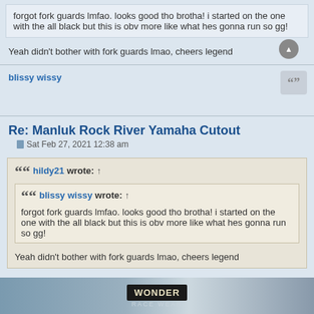forgot fork guards lmfao. looks good tho brotha! i started on the one with the all black but this is obv more like what hes gonna run so gg!
Yeah didn't bother with fork guards lmao, cheers legend
blissy wissy
Re: Manluk Rock River Yamaha Cutout
Sat Feb 27, 2021 12:38 am
hildy21 wrote: ↑
blissy wissy wrote: ↑
forgot fork guards lmfao. looks good tho brotha! i started on the one with the all black but this is obv more like what hes gonna run so gg!
Yeah didn't bother with fork guards lmao, cheers legend
where did you get the numbers
[Figure (photo): Advertisement banner for Wonder brand, showing motocross/dirt bike imagery with Wonder logo]